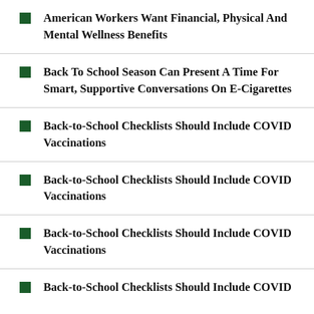American Workers Want Financial, Physical And Mental Wellness Benefits
Back To School Season Can Present A Time For Smart, Supportive Conversations On E-Cigarettes
Back-to-School Checklists Should Include COVID Vaccinations
Back-to-School Checklists Should Include COVID Vaccinations
Back-to-School Checklists Should Include COVID Vaccinations
Back-to-School Checklists Should Include COVID